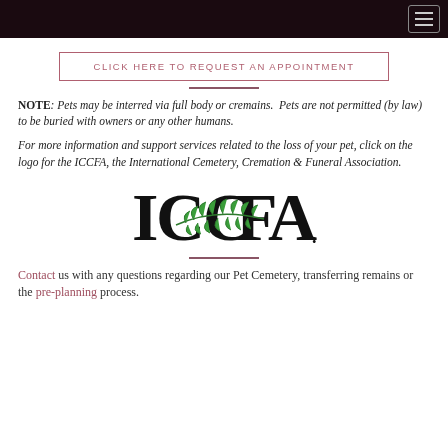CLICK HERE TO REQUEST AN APPOINTMENT
NOTE: Pets may be interred via full body or cremains.  Pets are not permitted (by law) to be buried with owners or any other humans.
For more information and support services related to the loss of your pet, click on the logo for the ICCFA, the International Cemetery, Cremation & Funeral Association.
[Figure (logo): ICCFA logo — bold serif letters I, C, C, F, A with a green leaf/fern branch overlaid across the middle]
Contact us with any questions regarding our Pet Cemetery, transferring remains or the pre-planning process.